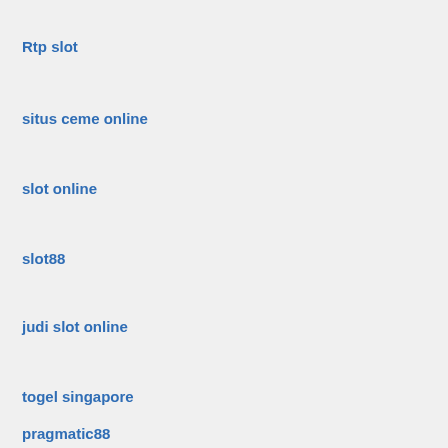Rtp slot
situs ceme online
slot online
slot88
judi slot online
togel singapore
pragmatic88